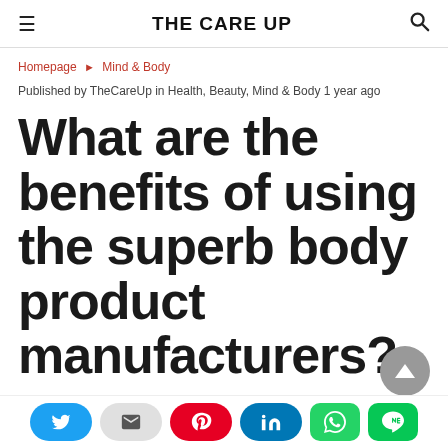THE CARE UP
Homepage ▶ Mind & Body
Published by TheCareUp in Health, Beauty, Mind & Body 1 year ago
What are the benefits of using the superb body product manufacturers?